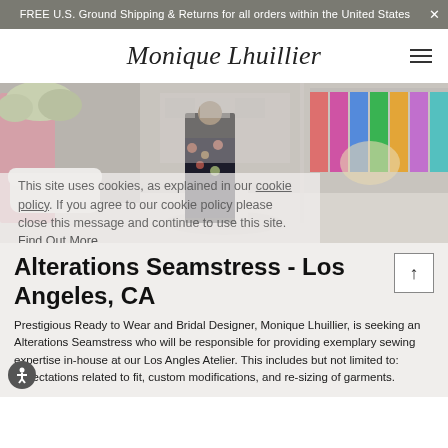FREE U.S. Ground Shipping & Returns for all orders within the United States
Monique Lhuillier
[Figure (photo): Interior of Monique Lhuillier boutique store showing dresses on racks, mannequins, floral arrangements, and white furniture]
This site uses cookies, as explained in our cookie policy. If you agree to our cookie policy please close this message and continue to use this site. Find Out More
Alterations Seamstress - Los Angeles, CA
Prestigious Ready to Wear and Bridal Designer, Monique Lhuillier, is seeking an Alterations Seamstress who will be responsible for providing exemplary sewing expertise in-house at our Los Angles Atelier. This includes but not limited to: expectations related to fit, custom modifications, and re-sizing of garments.